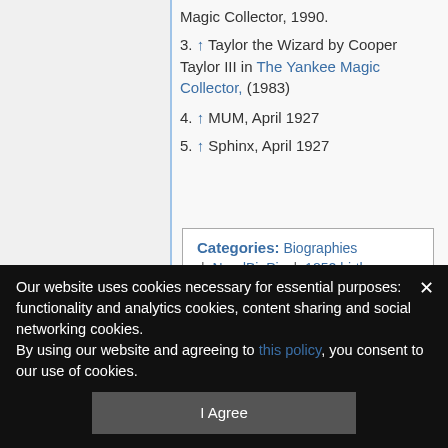Magic Collector, 1990.
3. ↑ Taylor the Wizard by Cooper Taylor III in The Yankee Magic Collector, (1983)
4. ↑ MUM, April 1927
5. ↑ Sphinx, April 1927
Categories: Biographies | NeedBioPic | 1852 births | 1927 deaths
Our website uses cookies necessary for essential purposes: functionality and analytics cookies, content sharing and social networking cookies. By using our website and agreeing to this policy, you consent to our use of cookies.